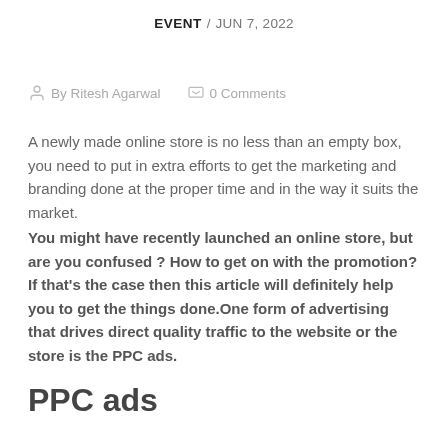EVENT / JUN 7, 2022
By Ritesh Agarwal   0 Comments
A newly made online store is no less than an empty box, you need to put in extra efforts to get the marketing and branding done at the proper time and in the way it suits the market. You might have recently launched an online store, but are you confused ? How to get on with the promotion? If that's the case then this article will definitely help you to get the things done.One form of advertising that drives direct quality traffic to the website or the store is the PPC ads.
PPC ads